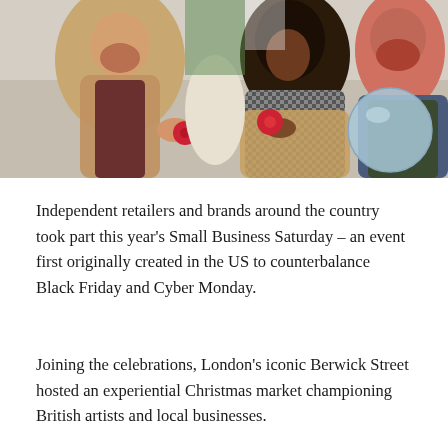[Figure (photo): Three people outdoors at a market examining small Christmas ornaments. A bearded man in a tan shearling coat on the left, a woman in a houndstooth scarf and camel coat in the centre holding a red bauble, and a red-bearded man in a denim jacket on the right. A large light blue ornament is visible on the right side.]
Independent retailers and brands around the country took part this year's Small Business Saturday – an event first originally created in the US to counterbalance Black Friday and Cyber Monday.
Joining the celebrations, London's iconic Berwick Street hosted an experiential Christmas market championing British artists and local businesses.